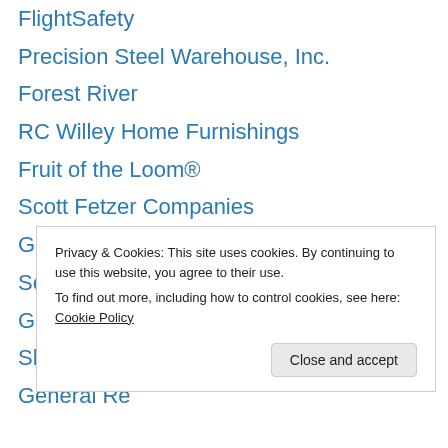FlightSafety
Precision Steel Warehouse, Inc.
Forest River
RC Willey Home Furnishings
Fruit of the Loom®
Scott Fetzer Companies
Garan Incorporated
See's Candies
GEICO Auto Insurance
Shaw Industries
General Re
Privacy & Cookies: This site uses cookies. By continuing to use this website, you agree to their use.
To find out more, including how to control cookies, see here: Cookie Policy